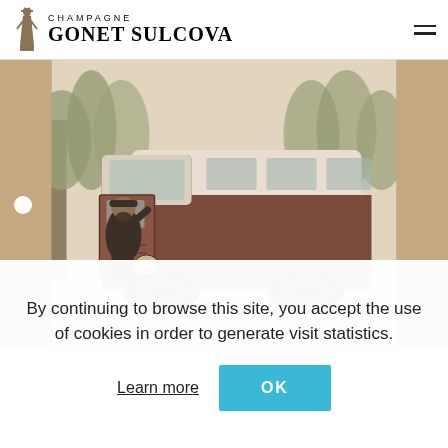CHAMPAGNE GONET SULCOVA
[Figure (photo): Vintage sepia-toned photograph of a man sitting in the open driver's door of a red and white van/minibus, parked in a snowy outdoor setting with trees in the background.]
By continuing to browse this site, you accept the use of cookies in order to generate visit statistics.
Learn more | OK